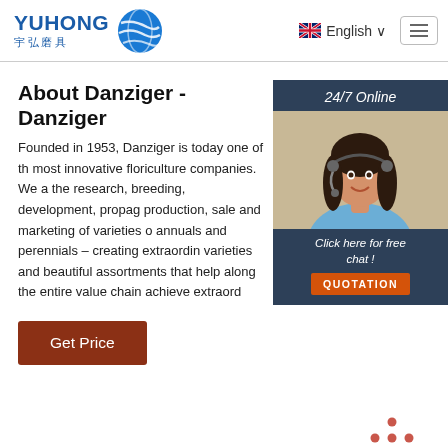[Figure (logo): YUHONG 宇弘磨具 logo with blue wave/globe icon]
English ∨
[Figure (screenshot): Hamburger menu icon (three horizontal lines)]
[Figure (photo): 24/7 Online chat widget with woman wearing headset, Click here for free chat! text and QUOTATION button]
About Danziger - Danziger
Founded in 1953, Danziger is today one of the most innovative floriculture companies. We are the research, breeding, development, propagation, production, sale and marketing of varieties of annuals and perennials – creating extraordinary varieties and beautiful assortments that help along the entire value chain achieve extraordinary
[Figure (illustration): Get Price button (brown/dark red)]
[Figure (illustration): TOP scroll-to-top button with dots forming upward arrow]